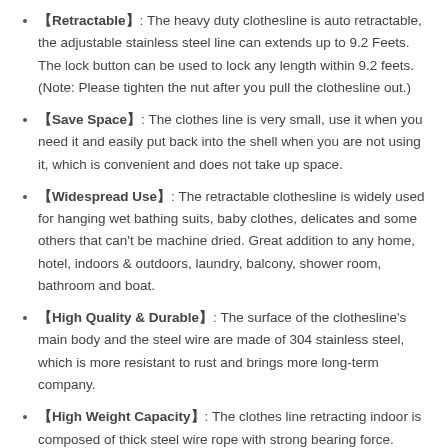【Retractable】: The heavy duty clothesline is auto retractable, the adjustable stainless steel line can extends up to 9.2 Feets. The lock button can be used to lock any length within 9.2 feets. (Note: Please tighten the nut after you pull the clothesline out.)
【Save Space】: The clothes line is very small, use it when you need it and easily put back into the shell when you are not using it, which is convenient and does not take up space.
【Widespread Use】: The retractable clothesline is widely used for hanging wet bathing suits, baby clothes, delicates and some others that can't be machine dried. Great addition to any home, hotel, indoors & outdoors, laundry, balcony, shower room, bathroom and boat.
【High Quality & Durable】: The surface of the clothesline's main body and the steel wire are made of 304 stainless steel, which is more resistant to rust and brings more long-term company.
【High Weight Capacity】: The clothes line retracting indoor is composed of thick steel wire rope with strong bearing force.